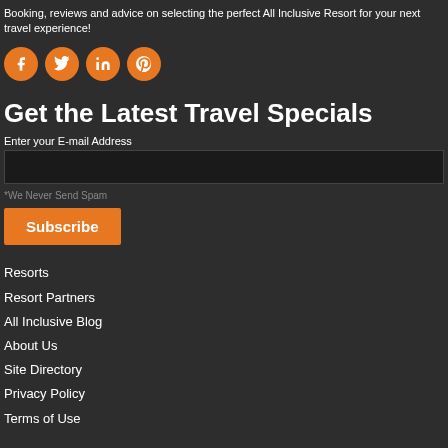Booking, reviews and advice on selecting the perfect All Inclusive Resort for your next travel experience!
[Figure (illustration): Four orange circular social media icons: Facebook (f), Twitter (bird), LinkedIn (in), Pinterest (p)]
Get the Latest Travel Specials
Enter your E-mail Address
*We Never Send Spam
Subscribe
Resorts
Resort Partners
All Inclusive Blog
About Us
Site Directory
Privacy Policy
Terms of Use